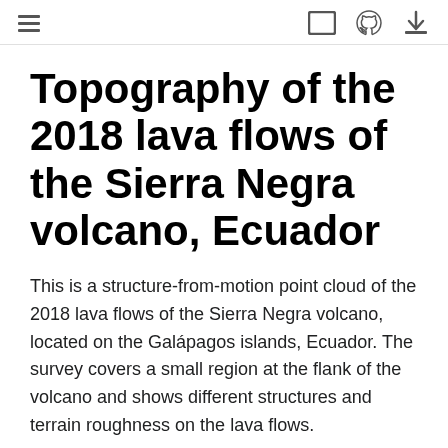≡  [ ]  (github icon)  (download icon)
Topography of the 2018 lava flows of the Sierra Negra volcano, Ecuador
This is a structure-from-motion point cloud of the 2018 lava flows of the Sierra Negra volcano, located on the Galápagos islands, Ecuador. The survey covers a small region at the flank of the volcano and shows different structures and terrain roughness on the lava flows.
Original source: Carr, B. (2020). Sierra Negra Volcano (TIR Flight 3): Galápagos, Ecuador, October 22 2018